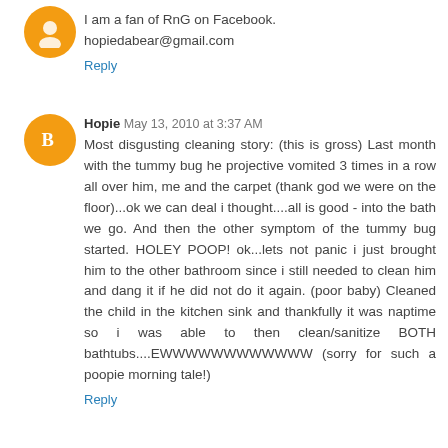I am a fan of RnG on Facebook.
hopiedabear@gmail.com
Reply
Hopie May 13, 2010 at 3:37 AM
Most disgusting cleaning story: (this is gross) Last month with the tummy bug he projective vomited 3 times in a row all over him, me and the carpet (thank god we were on the floor)...ok we can deal i thought....all is good - into the bath we go. And then the other symptom of the tummy bug started. HOLEY POOP! ok...lets not panic i just brought him to the other bathroom since i still needed to clean him and dang it if he did not do it again. (poor baby) Cleaned the child in the kitchen sink and thankfully it was naptime so i was able to then clean/sanitize BOTH bathtubs....EWWWWWWWWWWWW (sorry for such a poopie morning tale!)
Reply